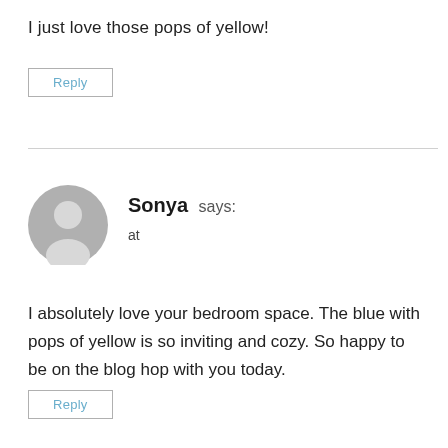I just love those pops of yellow!
Reply
[Figure (illustration): Generic grey avatar icon showing a silhouette of a person]
Sonya says:
at
I absolutely love your bedroom space. The blue with pops of yellow is so inviting and cozy. So happy to be on the blog hop with you today.
Reply